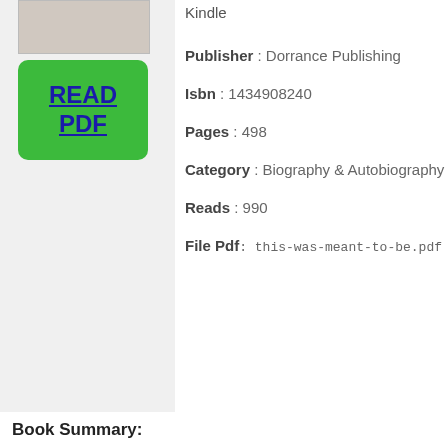[Figure (other): Book cover thumbnail image (gray/tan placeholder)]
[Figure (other): Green READ PDF button with blue underlined text]
Kindle
Publisher : Dorrance Publishing
Isbn : 1434908240
Pages : 498
Category : Biography & Autobiography
Reads : 990
File Pdf: this-was-meant-to-be.pdf
Book Summary: